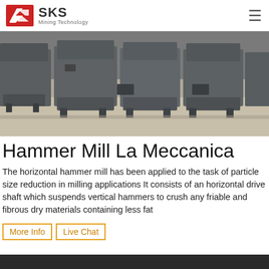SKS Mining Technology
[Figure (photo): Row of large grey industrial hammer mill machines sitting on a warehouse floor]
Hammer Mill La Meccanica
The horizontal hammer mill has been applied to the task of particle size reduction in milling applications It consists of an horizontal drive shaft which suspends vertical hammers to crush any friable and fibrous dry materials containing less fat
More Info | Live Chat